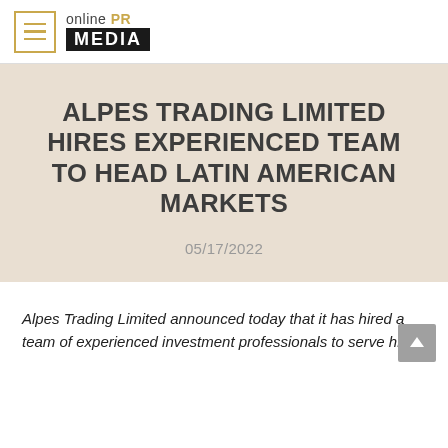[Figure (logo): Online PR Media logo with hamburger menu icon. Logo shows 'online PR MEDIA' where PR is in gold and MEDIA is in white on black background.]
ALPES TRADING LIMITED HIRES EXPERIENCED TEAM TO HEAD LATIN AMERICAN MARKETS
05/17/2022
Alpes Trading Limited announced today that it has hired a team of experienced investment professionals to serve high